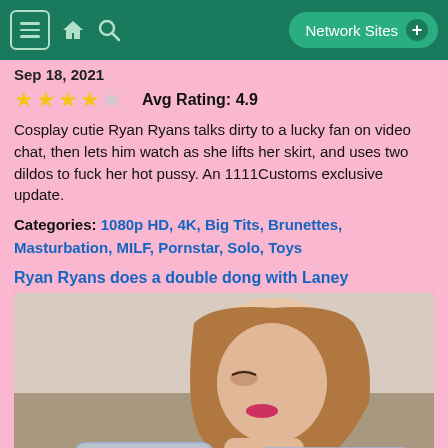Network Sites +
Sep 18, 2021
Avg Rating: 4.9
Cosplay cutie Ryan Ryans talks dirty to a lucky fan on video chat, then lets him watch as she lifts her skirt, and uses two dildos to fuck her hot pussy. An 1111Customs exclusive update.
Categories: 1080p HD, 4K, Big Tits, Brunettes, Masturbation, MILF, Pornstar, Solo, Toys
Ryan Ryans does a double dong with Laney
[Figure (photo): Thumbnail photo of a woman with long brown hair, wearing pink lipstick, looking downward, holding two clear objects]